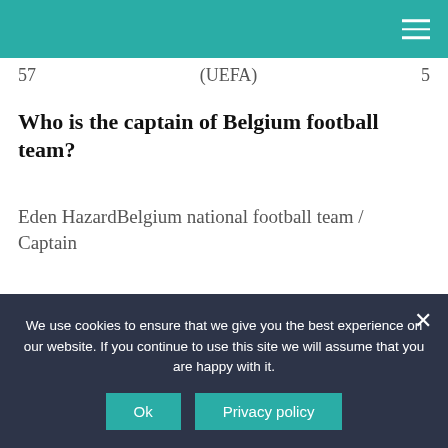57   (UEFA)   5
Who is the captain of Belgium football team?
Eden HazardBelgium national football team / Captain
Who is Norway's top scorer?
Top scorers
We use cookies to ensure that we give you the best experience on our website. If you continue to use this site we will assume that you are happy with it.